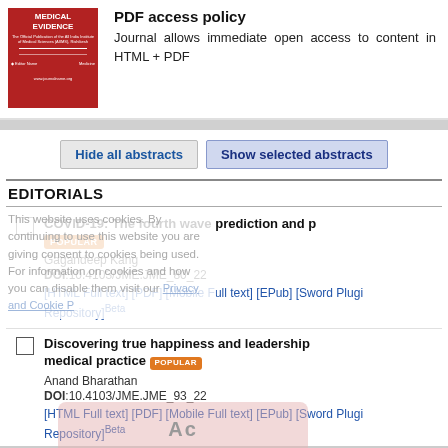[Figure (illustration): Red journal cover for 'Medical Evidence', official publication of All India Institute of Medical Sciences (AIIMS)]
PDF access policy
Journal allows immediate open access to content in HTML + PDF
Hide all abstracts   Show selected abstracts
EDITORIALS
COVID-19: The fourth wave prediction and p...
POPULAR
Gagandeep Kang
DOI:10.4103/JME.JME_80_22
[HTML Full text] [PDF] [Mobile Full text] [EPub] [Sword Plugi... Repository]Beta
Discovering true happiness and leadership... medical practice
POPULAR
Anand Bharathan
DOI:10.4103/JME.JME_93_22
[HTML Full text] [PDF] [Mobile Full text] [EPub] [Sword Plugi... Repository]Beta
This website uses cookies. By continuing to use this website you are giving consent to cookies being used. For information on cookies and how you can disable them visit our Privacy and Cookie Policy.